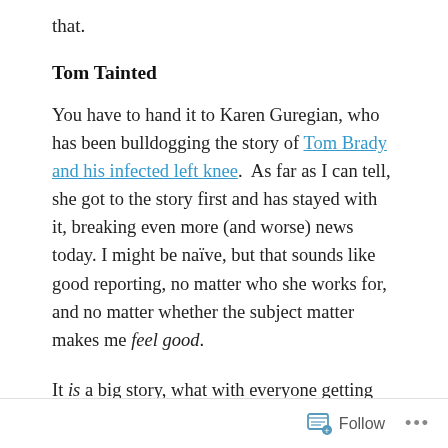that.
Tom Tainted
You have to hand it to Karen Guregian, who has been bulldogging the story of Tom Brady and his infected left knee. As far as I can tell, she got to the story first and has stayed with it, breaking even more (and worse) news today. I might be naïve, but that sounds like good reporting, no matter who she works for, and no matter whether the subject matter makes me feel good.
It is a big story, what with everyone getting their first glimpse of Brady's football mortality and everything. Naturally, we reacted to today's news with our typical
Follow ...